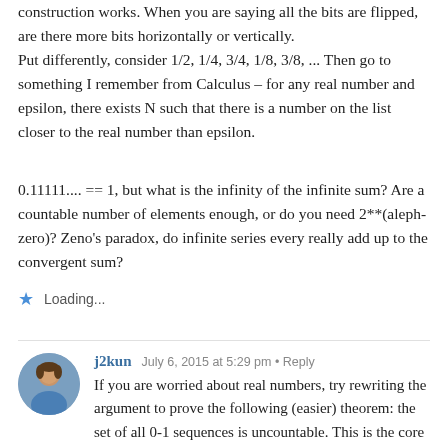construction works. When you are saying all the bits are flipped, are there more bits horizontally or vertically.
Put differently, consider 1/2, 1/4, 3/4, 1/8, 3/8, ... Then go to something I remember from Calculus – for any real number and epsilon, there exists N such that there is a number on the list closer to the real number than epsilon.
0.11111.... == 1, but what is the infinity of the infinite sum? Are a countable number of elements enough, or do you need 2**(aleph-zero)? Zeno's paradox, do infinite series every really add up to the convergent sum?
Loading...
j2kun · July 6, 2015 at 5:29 pm · Reply
If you are worried about real numbers, try rewriting the argument to prove the following (easier) theorem: the set of all 0-1 sequences is uncountable. This is the core of the proof for the real numbers, and then to improve that